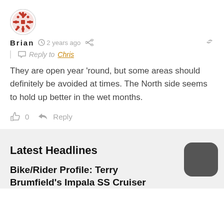[Figure (illustration): Red decorative snowflake/mandala avatar icon for user Brian]
Brian  ⏱ 2 years ago  ↗  🔗
Reply to Chris
They are open year 'round, but some areas should definitely be avoided at times. The North side seems to hold up better in the wet months.
👍 0   ➤ Reply
Latest Headlines
Bike/Rider Profile: Terry Brumfield's Impala SS Cruiser